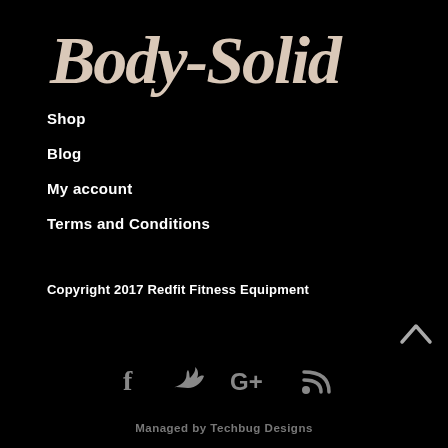[Figure (logo): Body-Solid script logo in light pinkish-white on black background]
Shop
Blog
My account
Terms and Conditions
Copyright 2017 Redfit Fitness Equipment
[Figure (infographic): Social media icons: Facebook, Twitter, Google+, RSS feed in grey]
Managed by Techbug Designs